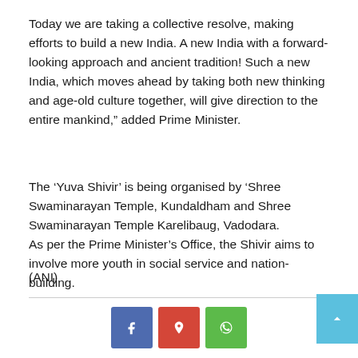Today we are taking a collective resolve, making efforts to build a new India. A new India with a forward-looking approach and ancient tradition! Such a new India, which moves ahead by taking both new thinking and age-old culture together, will give direction to the entire mankind," added Prime Minister.
The ‘Yuva Shivir’ is being organised by ‘Shree Swaminarayan Temple, Kundaldham and Shree Swaminarayan Temple Karelibaug, Vadodara.
As per the Prime Minister’s Office, the Shivir aims to involve more youth in social service and nation-building.
(ANI)
[Figure (other): Social sharing buttons: Facebook (blue), Google+ (red), WhatsApp (green), and a scroll/share button (light blue) on the right edge]